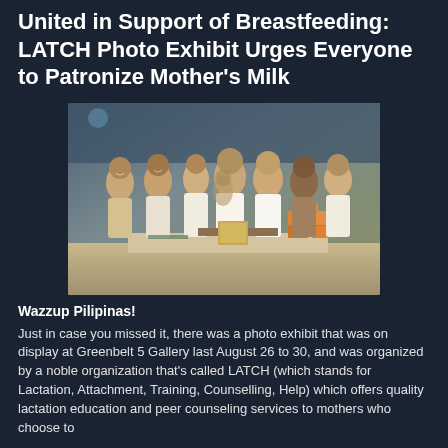United in Support of Breastfeeding: LATCH Photo Exhibit Urges Everyone to Patronize Mother's Milk
[Figure (photo): Group photo of women posing together at an event, standing behind a table with items on display, taken indoors at what appears to be a gallery or mall setting.]
Wazzup Pilipinas!
Just in case you missed it, there was a photo exhibit that was on display at Greenbelt 5 Gallery last August 26 to 30, and was organized by a noble organization that's called LATCH (which stands for Lactation, Attachment, Training, Counselling, Help) which offers quality lactation education and peer counseling services to mothers who choose to